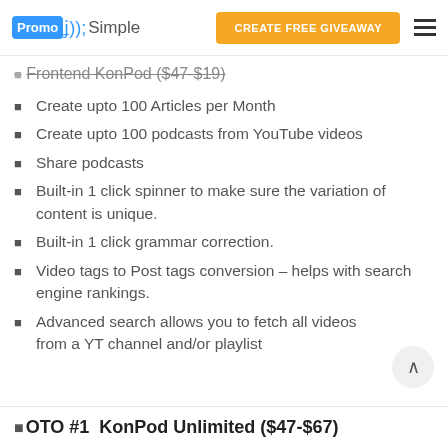PromoSimple | CREATE FREE GIVEAWAY
Frontend KonPod ($47-$19)
Create upto 100 Articles per Month
Create upto 100 podcasts from YouTube videos
Share podcasts
Built-in 1 click spinner to make sure the variation of content is unique.
Built-in 1 click grammar correction.
Video tags to Post tags conversion – helps with search engine rankings.
Advanced search allows you to fetch all videos from a YT channel and/or playlist
⬛OTO #1  KonPod Unlimited ($47-$67)